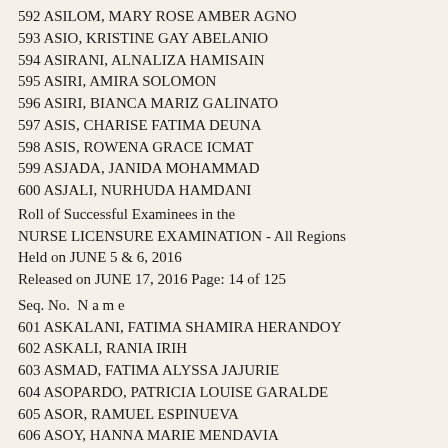592 ASILOM, MARY ROSE AMBER AGNO
593 ASIO, KRISTINE GAY ABELANIO
594 ASIRANI, ALNALIZA HAMISAIN
595 ASIRI, AMIRA SOLOMON
596 ASIRI, BIANCA MARIZ GALINATO
597 ASIS, CHARISE FATIMA DEUNA
598 ASIS, ROWENA GRACE ICMAT
599 ASJADA, JANIDA MOHAMMAD
600 ASJALI, NURHUDA HAMDANI
Roll of Successful Examinees in the
NURSE LICENSURE EXAMINATION - All Regions
Held on JUNE 5 & 6, 2016
Released on JUNE 17, 2016 Page: 14 of 125
Seq. No. N a m e
601 ASKALANI, FATIMA SHAMIRA HERANDOY
602 ASKALI, RANIA IRIH
603 ASMAD, FATIMA ALYSSA JAJURIE
604 ASOPARDO, PATRICIA LOUISE GARALDE
605 ASOR, RAMUEL ESPINUEVA
606 ASOY, HANNA MARIE MENDAVIA
607 ASPAREN, CLARENCE KAY DE JESUS
608 ASPIRAS, LIEZL STEPHANIE DE VERA